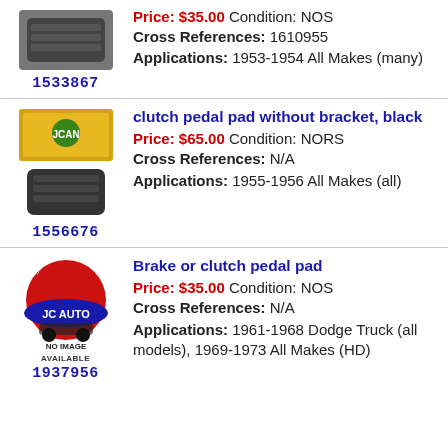[Figure (photo): Brake/clutch pedal pad photo (ribbed rubber pad)]
1533867
Price: $35.00  Condition: NOS
Cross References: 1610955
Applications: 1953-1954 All Makes (many)
clutch pedal pad without bracket, black
[Figure (photo): Clutch pedal pad in JCAN box and rubber pad below]
1556676
Price: $65.00  Condition: NORS
Cross References: N/A
Applications: 1955-1956 All Makes (all)
Brake or clutch pedal pad
[Figure (logo): JC AUTO logo with NO IMAGE AVAILABLE text]
1937956
Price: $35.00  Condition: NOS
Cross References: N/A
Applications: 1961-1968 Dodge Truck (all models), 1969-1973 All Makes (HD)